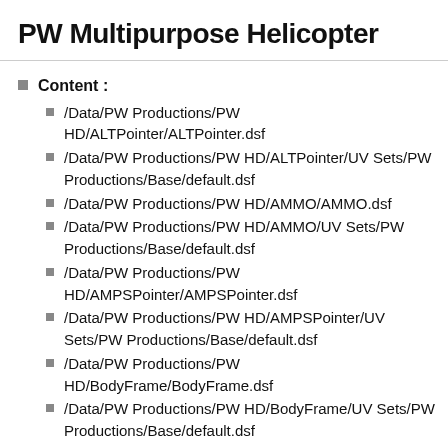PW Multipurpose Helicopter
Content :
/Data/PW Productions/PW HD/ALTPointer/ALTPointer.dsf
/Data/PW Productions/PW HD/ALTPointer/UV Sets/PW Productions/Base/default.dsf
/Data/PW Productions/PW HD/AMMO/AMMO.dsf
/Data/PW Productions/PW HD/AMMO/UV Sets/PW Productions/Base/default.dsf
/Data/PW Productions/PW HD/AMPSPointer/AMPSPointer.dsf
/Data/PW Productions/PW HD/AMPSPointer/UV Sets/PW Productions/Base/default.dsf
/Data/PW Productions/PW HD/BodyFrame/BodyFrame.dsf
/Data/PW Productions/PW HD/BodyFrame/UV Sets/PW Productions/Base/default.dsf